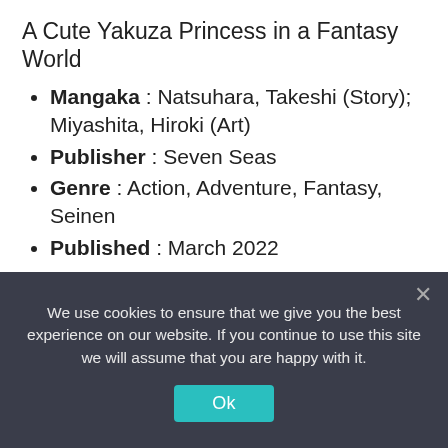A Cute Yakuza Princess in a Fantasy World
Mangaka : Natsuhara, Takeshi (Story); Miyashita, Hiroki (Art)
Publisher : Seven Seas
Genre : Action, Adventure, Fantasy, Seinen
Published : March 2022
Despite so many variations throughout the years, the popularity of isekai stories hasn't gone down yet. On the contrary, the hype behind this genre is still stronger than ever.
We use cookies to ensure that we give you the best experience on our website. If you continue to use this site we will assume that you are happy with it.